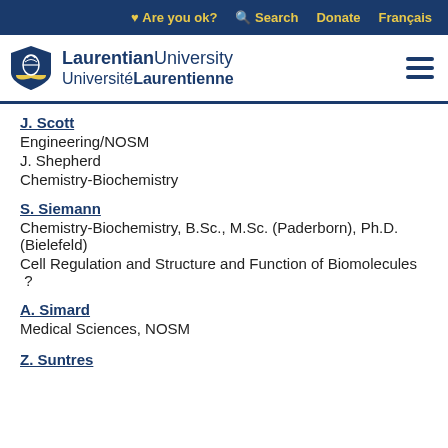♥ Are you ok?  🔍 Search  Donate  Français
[Figure (logo): Laurentian University / Université Laurentienne shield logo with navigation hamburger menu]
J. Scott
Engineering/NOSM
J. Shepherd
Chemistry-Biochemistry
S. Siemann
Chemistry-Biochemistry, B.Sc., M.Sc. (Paderborn), Ph.D. (Bielefeld)
Cell Regulation and Structure and Function of Biomolecules ?
A. Simard
Medical Sciences, NOSM
Z. Suntres